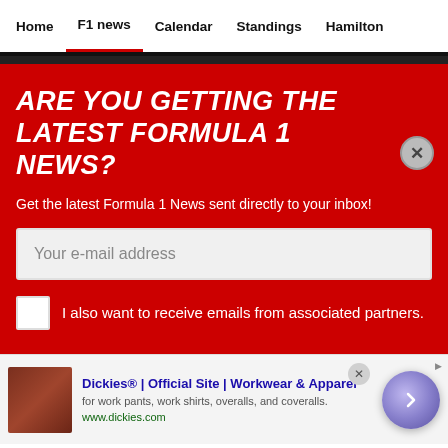Home | F1 news | Calendar | Standings | Hamilton
ARE YOU GETTING THE LATEST FORMULA 1 NEWS?
Get the latest Formula 1 News sent directly to your inbox!
Your e-mail address
I also want to receive emails from associated partners.
[Figure (screenshot): Advertisement for Dickies workwear showing a sofa/leather image, ad title, description, and navigation arrow button]
Dickies® | Official Site | Workwear & Apparel
for work pants, work shirts, overalls, and coveralls.
www.dickies.com